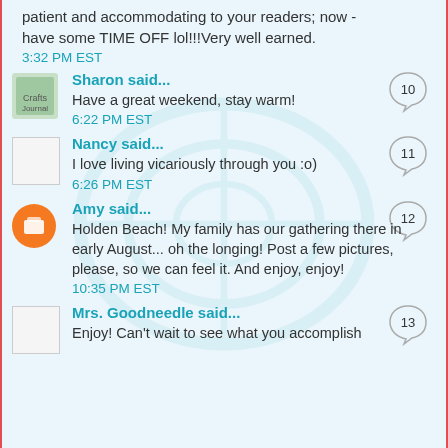patient and accommodating to your readers; now - have some TIME OFF lol!!!Very well earned.
3:32 PM EST
Sharon said...
Have a great weekend, stay warm!
6:22 PM EST
Nancy said...
I love living vicariously through you :o)
6:26 PM EST
Amy said...
Holden Beach! My family has our gathering there in early August... oh the longing! Post a few pictures, please, so we can feel it. And enjoy, enjoy!
10:35 PM EST
Mrs. Goodneedle said...
Enjoy! Can't wait to see what you accomplish